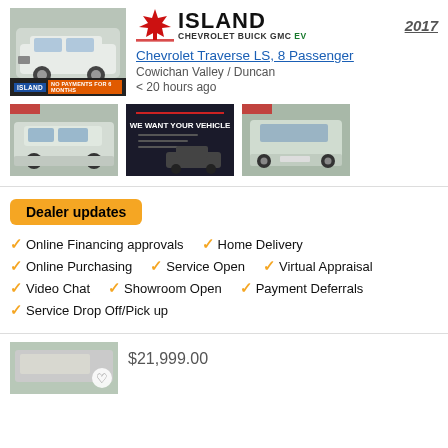[Figure (photo): White Chevrolet Traverse SUV front view, with blue Island and orange NO PAYMENTS bar overlay at bottom]
[Figure (logo): Island Chevrolet Buick GMC EV dealer logo with red maple leaf graphic]
2017
Chevrolet Traverse LS, 8 Passenger
Cowichan Valley / Duncan
< 20 hours ago
[Figure (photo): White Chevrolet Traverse SUV side view]
[Figure (photo): Dark advertisement: WE WANT YOUR VEHICLE with car silhouette]
[Figure (photo): White Chevrolet Traverse SUV rear three-quarter view]
Dealer updates
Online Financing approvals
Home Delivery
Online Purchasing
Service Open
Virtual Appraisal
Video Chat
Showroom Open
Payment Deferrals
Service Drop Off/Pick up
$21,999.00